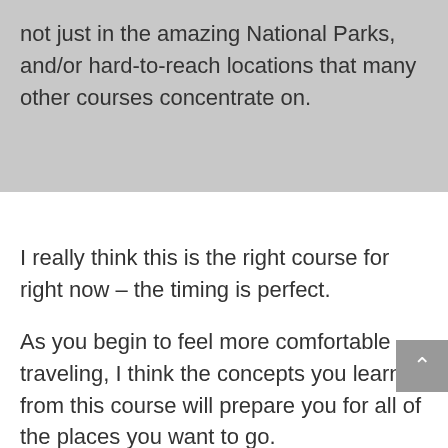not just in the amazing National Parks, and/or hard-to-reach locations that many other courses concentrate on.
I really think this is the right course for right now – the timing is perfect.
As you begin to feel more comfortable traveling, I think the concepts you learn from this course will prepare you for all of the places you want to go.
However, in general (and having ABSOLUTELY